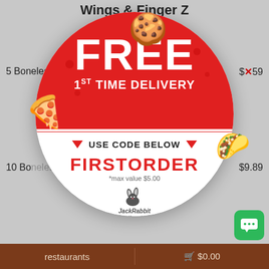Wings & Finger Z
5 Boneless Wi...   $8.59 (crossed out)
10 Bo...   $9.89
20...   ...69
Ac...   ...28
5 Tr...   7.69
Order t... t judge. Our Traditi... tossed in the sauce of y...
[Figure (infographic): Circular coupon overlay popup with red top half showing FREE 1ST TIME DELIVERY and white bottom half showing USE CODE BELOW with triangles, promo code FIRSTORDER in red, *max value $5.00, and JackRabbit Deliveries logo. Food sticker illustrations of cookie, pizza slice, and taco surround the circle.]
restaurants   🛒 $0.00